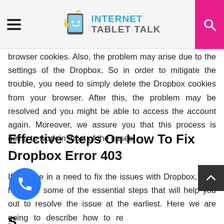Internet Tablet Talk
browser cookies. Also, the problem may arise due to the settings of the Dropbox. So in order to mitigate the trouble, you need to simply delete the Dropbox cookies from your browser. After this, the problem may be resolved and you might be able to access the account again. Moreover, we assure you that this process is going to work in most of the cases.
Effective Steps On How To Fix Dropbox Error 403
If you are in a need to fix the issues with Dropbox, then here are some of the essential steps that will help you out to resolve the issue at the earliest. Here we are going to describe how to remove the cookies from various web browsers.